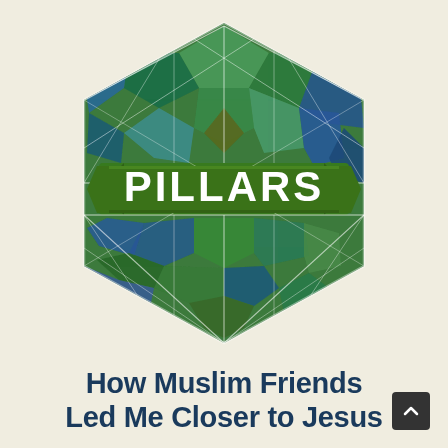[Figure (logo): Hexagonal mosaic logo with green and blue geometric tile pattern and white geometric lines. A green banner across the center reads 'PILLARS' in large bold white text.]
How Muslim Friends Led Me Closer to Jesus